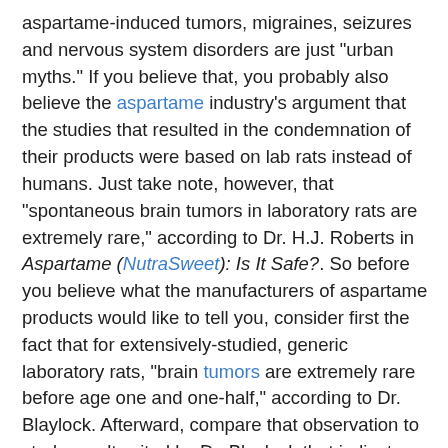aspartame-induced tumors, migraines, seizures and nervous system disorders are just "urban myths." If you believe that, you probably also believe the aspartame industry's argument that the studies that resulted in the condemnation of their products were based on lab rats instead of humans. Just take note, however, that "spontaneous brain tumors in laboratory rats are extremely rare," according to Dr. H.J. Roberts in Aspartame (NutraSweet): Is It Safe?. So before you believe what the manufacturers of aspartame products would like to tell you, consider first the fact that for extensively-studied, generic laboratory rats, "brain tumors are extremely rare before age one and one-half," according to Dr. Blaylock. Afterward, compare that observation to study results cited by Dr. Blaylock that indicate "aspartame-fed rats developed two tumors by 60 weeks of age and five tumors by 70 weeks." Now, do you still believe it's an "urban myth?"